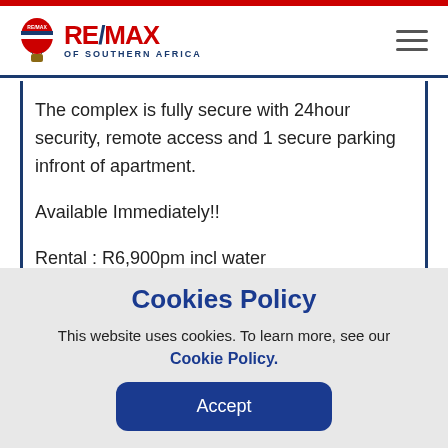RE/MAX OF SOUTHERN AFRICA
The complex is fully secure with 24hour security, remote access and 1 secure parking infront of apartment.
Available Immediately!!
Rental : R6,900pm incl water
1 Month Deposit : R6,900
Total : R17,000 before occupation
Cookies Policy
This website uses cookies. To learn more, see our Cookie Policy.
Accept